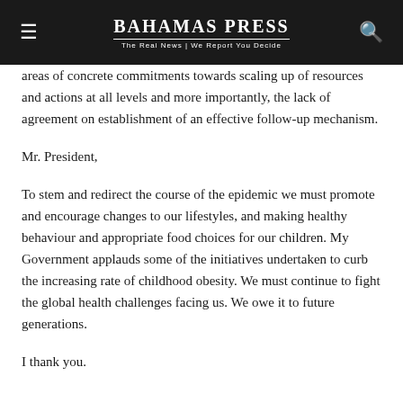Bahamas Press — The Real News | We Report You Decide
areas of concrete commitments towards scaling up of resources and actions at all levels and more importantly, the lack of agreement on establishment of an effective follow-up mechanism.
Mr. President,
To stem and redirect the course of the epidemic we must promote and encourage changes to our lifestyles, and making healthy behaviour and appropriate food choices for our children. My Government applauds some of the initiatives undertaken to curb the increasing rate of childhood obesity. We must continue to fight the global health challenges facing us. We owe it to future generations.
I thank you.